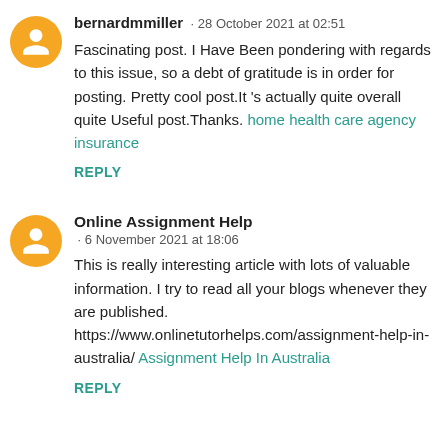bernardmmiller · 28 October 2021 at 02:51
Fascinating post. I Have Been pondering with regards to this issue, so a debt of gratitude is in order for posting. Pretty cool post.It 's actually quite overall quite Useful post.Thanks. home health care agency insurance
REPLY
Online Assignment Help · 6 November 2021 at 18:06
This is really interesting article with lots of valuable information. I try to read all your blogs whenever they are published. https://www.onlinetutorhelps.com/assignment-help-in-australia/ Assignment Help In Australia
REPLY